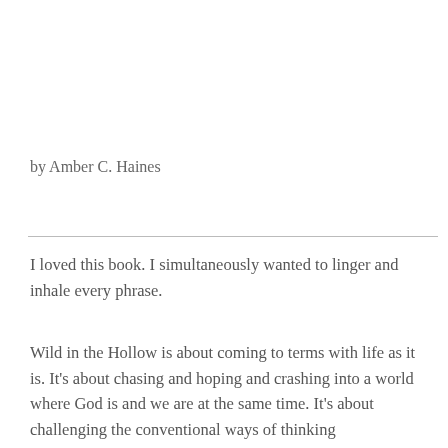by Amber C. Haines
I loved this book. I simultaneously wanted to linger and inhale every phrase.
Wild in the Hollow is about coming to terms with life as it is. It's about chasing and hoping and crashing into a world where God is and we are at the same time. It's about challenging the conventional ways of thinking